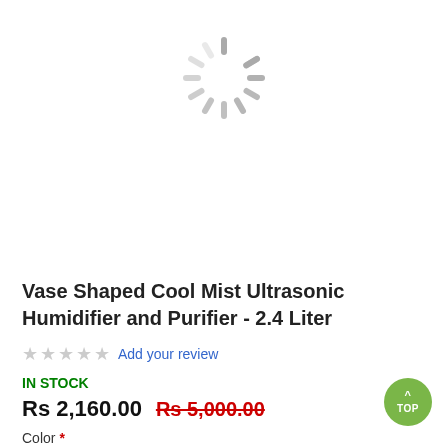[Figure (illustration): Loading spinner icon (gray rotating dash circle) indicating image is loading]
Vase Shaped Cool Mist Ultrasonic Humidifier and Purifier - 2.4 Liter
★★★★★  Add your review
IN STOCK
Rs 2,160.00  Rs 5,000.00
Color *